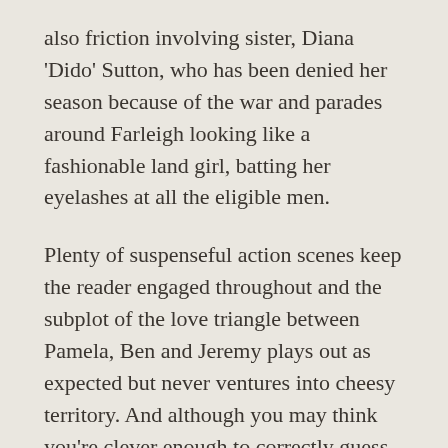also friction involving sister, Diana 'Dido' Sutton, who has been denied her season because of the war and parades around Farleigh looking like a fashionable land girl, batting her eyelashes at all the eligible men.
Plenty of suspenseful action scenes keep the reader engaged throughout and the subplot of the love triangle between Pamela, Ben and Jeremy plays out as expected but never ventures into cheesy territory. And although you may think you're clever enough to correctly guess the identity of the spy, there's a further twist you may not see coming.
Bowen deftly crafts the story with rich settings, impeccable historical accuracy and authentic characters in such a way that it feels like In Farleigh Field is a film playing inside your head. And with limited published